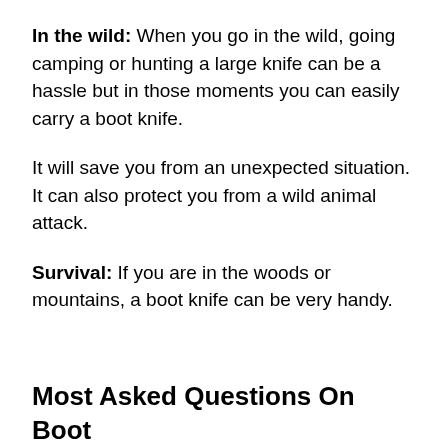In the wild: When you go in the wild, going camping or hunting a large knife can be a hassle but in those moments you can easily carry a boot knife.
It will save you from an unexpected situation. It can also protect you from a wild animal attack.
Survival: If you are in the woods or mountains, a boot knife can be very handy.
Most Asked Questions On Boot